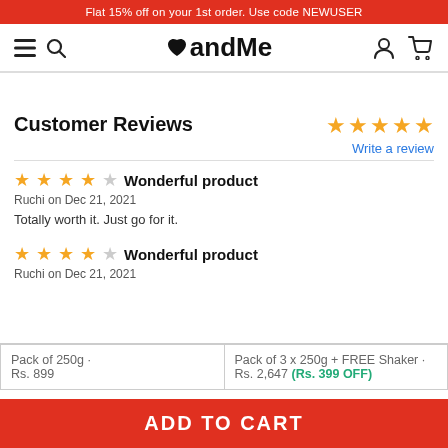Flat 15% off on your 1st order. Use code NEWUSER
[Figure (screenshot): andMe logo with heart symbol, navigation icons for menu, search, user account, and shopping cart]
Customer Reviews
★★★★☆ Wonderful product
Ruchi on Dec 21, 2021
Totally worth it. Just go for it.
★★★★☆ Wonderful product
Ruchi on Dec 21, 2021
| Pack of 250g · Rs. 899 | Pack of 3 x 250g + FREE Shaker · Rs. 2,647 (Rs. 399 OFF) |
ADD TO CART